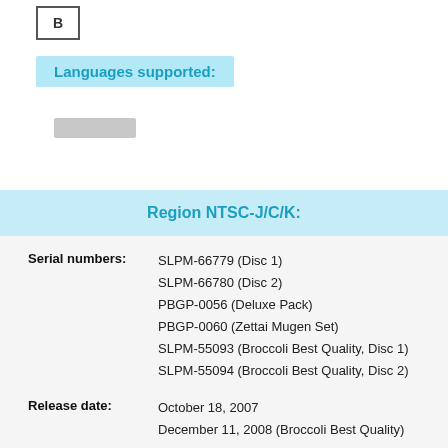[Figure (logo): Broccoli publisher logo, letter B in a bordered box]
Languages supported:
Region NTSC-J/C/K:
| Field | Value |
| --- | --- |
| Serial numbers: | SLPM-66779 (Disc 1) |
|  | SLPM-66780 (Disc 2) |
|  | PBGP-0056 (Deluxe Pack) |
|  | PBGP-0060 (Zettai Mugen Set) |
|  | SLPM-55093 (Broccoli Best Quality, Disc 1) |
|  | SLPM-55094 (Broccoli Best Quality, Disc 2) |
| Field | Value |
| --- | --- |
| Release date: | October 18, 2007 |
|  | December 11, 2008 (Broccoli Best Quality) |